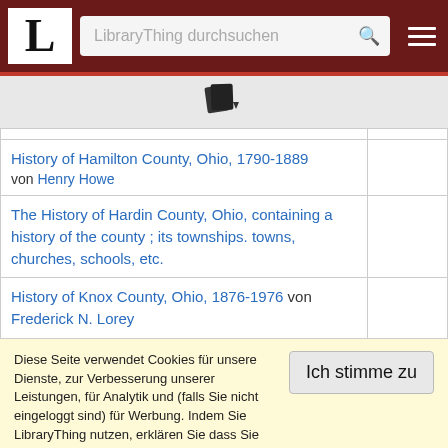LibraryThing durchsuchen
[Figure (other): Book/document icon with small arrow]
|  |  |
| --- | --- |
| History of Hamilton County, Ohio, 1790-1889 von Henry Howe |  |
| The History of Hardin County, Ohio, containing a history of the county ; its townships. towns, churches, schools, etc. |  |
| History of Knox County, Ohio, 1876-1976 von Frederick N. Lorey |  |
Diese Seite verwendet Cookies für unsere Dienste, zur Verbesserung unserer Leistungen, für Analytik und (falls Sie nicht eingeloggt sind) für Werbung. Indem Sie LibraryThing nutzen, erklären Sie dass Sie unsere Nutzungsbedingungen und Datenschutzrichtlinie gelesen und verstanden haben. Die Nutzung unserer Webseite und Dienste unterliegt diesen Richtlinien und Geschäftsbedingungen.